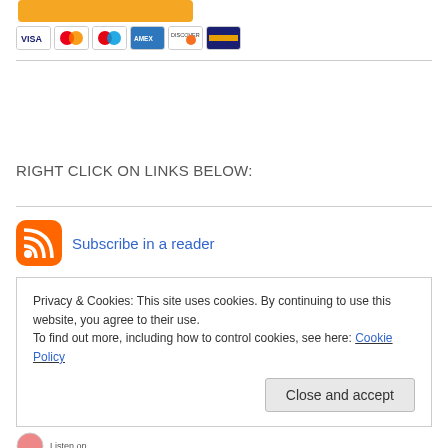[Figure (other): PayPal donate/checkout button (orange rounded rectangle) above a row of credit card icons: Visa, Mastercard, Maestro, American Express, Discover, and one more card logo]
RIGHT CLICK ON LINKS BELOW:
Subscribe in a reader
Privacy & Cookies: This site uses cookies. By continuing to use this website, you agree to their use.
To find out more, including how to control cookies, see here: Cookie Policy
Close and accept
[Figure (other): Listen on (podcast/audio player strip, partially visible at bottom)]